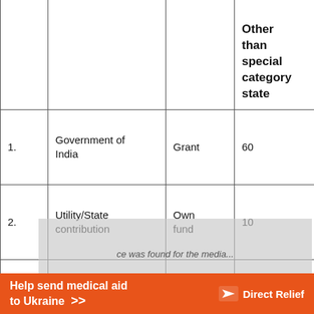|  |  |  | Other than special category state |
| --- | --- | --- | --- |
| 1. | Government of India | Grant | 60 |
| 2. | Utility/State contribution | Own fund | 10 |
| 3. | Loan(financial institutions/banks) | Loan | 30 |
|  | Additional grants from Government of India on... |  | 50% of total loan |